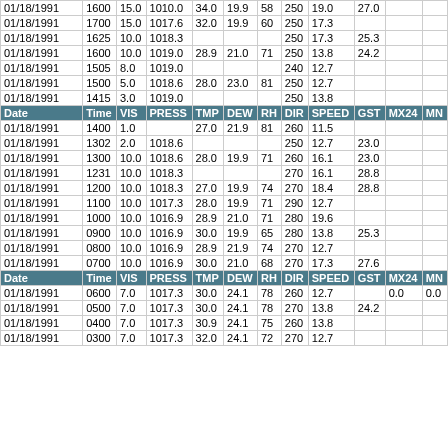| Date | Time | VIS | PRESS | TMP | DEW | RH | DIR | SPEED | GST | MX24 | MN |
| --- | --- | --- | --- | --- | --- | --- | --- | --- | --- | --- | --- |
| 01/18/1991 | 1600 | 15.0 | 1010.0 | 34.0 | 19.9 | 58 | 250 | 19.0 | 27.0 |  |  |
| 01/18/1991 | 1700 | 15.0 | 1017.6 | 32.0 | 19.9 | 60 | 250 | 17.3 |  |  |  |
| 01/18/1991 | 1625 | 10.0 | 1018.3 |  |  |  | 250 | 17.3 | 25.3 |  |  |
| 01/18/1991 | 1600 | 10.0 | 1019.0 | 28.9 | 21.0 | 71 | 250 | 13.8 | 24.2 |  |  |
| 01/18/1991 | 1505 | 8.0 | 1019.0 |  |  |  | 240 | 12.7 |  |  |  |
| 01/18/1991 | 1500 | 5.0 | 1018.6 | 28.0 | 23.0 | 81 | 250 | 12.7 |  |  |  |
| 01/18/1991 | 1415 | 3.0 | 1019.0 |  |  |  | 250 | 13.8 |  |  |  |
| Date | Time | VIS | PRESS | TMP | DEW | RH | DIR | SPEED | GST | MX24 | MN |
| 01/18/1991 | 1400 | 1.0 |  | 27.0 | 21.9 | 81 | 260 | 11.5 |  |  |  |
| 01/18/1991 | 1302 | 2.0 | 1018.6 |  |  |  | 250 | 12.7 | 23.0 |  |  |
| 01/18/1991 | 1300 | 10.0 | 1018.6 | 28.0 | 19.9 | 71 | 260 | 16.1 | 23.0 |  |  |
| 01/18/1991 | 1231 | 10.0 | 1018.3 |  |  |  | 270 | 16.1 | 28.8 |  |  |
| 01/18/1991 | 1200 | 10.0 | 1018.3 | 27.0 | 19.9 | 74 | 270 | 18.4 | 28.8 |  |  |
| 01/18/1991 | 1100 | 10.0 | 1017.3 | 28.0 | 19.9 | 71 | 290 | 12.7 |  |  |  |
| 01/18/1991 | 1000 | 10.0 | 1016.9 | 28.9 | 21.0 | 71 | 280 | 19.6 |  |  |  |
| 01/18/1991 | 0900 | 10.0 | 1016.9 | 30.0 | 19.9 | 65 | 280 | 13.8 | 25.3 |  |  |
| 01/18/1991 | 0800 | 10.0 | 1016.9 | 28.9 | 21.9 | 74 | 270 | 12.7 |  |  |  |
| 01/18/1991 | 0700 | 10.0 | 1016.9 | 30.0 | 21.0 | 68 | 270 | 17.3 | 27.6 |  |  |
| Date | Time | VIS | PRESS | TMP | DEW | RH | DIR | SPEED | GST | MX24 | MN |
| 01/18/1991 | 0600 | 7.0 | 1017.3 | 30.0 | 24.1 | 78 | 260 | 12.7 |  | 0.0 | 0.0 |
| 01/18/1991 | 0500 | 7.0 | 1017.3 | 30.0 | 24.1 | 78 | 270 | 13.8 | 24.2 |  |  |
| 01/18/1991 | 0400 | 7.0 | 1017.3 | 30.9 | 24.1 | 75 | 260 | 13.8 |  |  |  |
| 01/18/1991 | 0300 | 7.0 | 1017.3 | 32.0 | 24.1 | 72 | 270 | 12.7 |  |  |  |